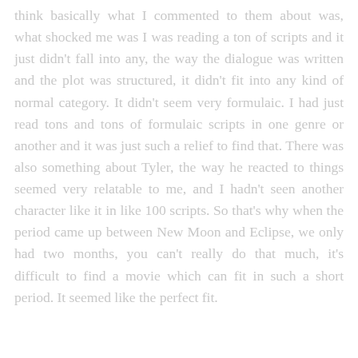think basically what I commented to them about was, what shocked me was I was reading a ton of scripts and it just didn't fall into any, the way the dialogue was written and the plot was structured, it didn't fit into any kind of normal category. It didn't seem very formulaic. I had just read tons and tons of formulaic scripts in one genre or another and it was just such a relief to find that. There was also something about Tyler, the way he reacted to things seemed very relatable to me, and I hadn't seen another character like it in like 100 scripts. So that's why when the period came up between New Moon and Eclipse, we only had two months, you can't really do that much, it's difficult to find a movie which can fit in such a short period. It seemed like the perfect fit.